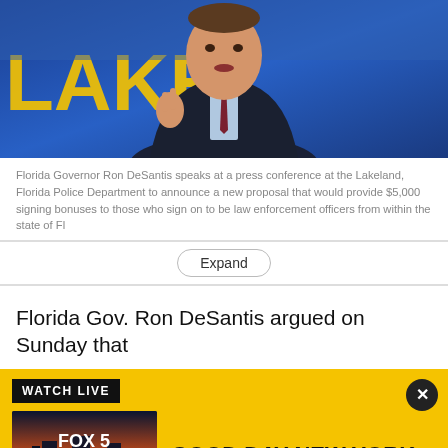[Figure (photo): Florida Governor Ron DeSantis speaking at a press conference, wearing a dark suit and tie, gesturing with his hand, in front of a blue Lakeland backdrop with yellow letters]
Florida Governor Ron DeSantis speaks at a press conference at the Lakeland, Florida Police Department to announce a new proposal that would provide $5,000 signing bonuses to those who sign on to be law enforcement officers from within the state of Fl
Expand
Florida Gov. Ron DeSantis argued on Sunday that
[Figure (screenshot): Watch Live advertisement banner for Good Day New York on Fox 5, with yellow background, black Watch Live label, Fox 5 New York thumbnail with play button, and close X button]